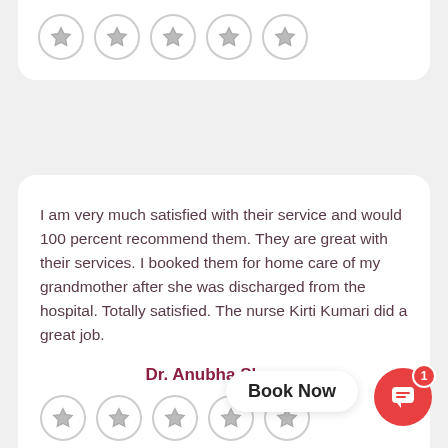[Figure (other): Five star rating circles (empty/grey stars) at top of page]
I am very much satisfied with their service and would 100 percent recommend them. They are great with their services. I booked them for home care of my grandmother after she was discharged from the hospital. Totally satisfied. The nurse Kirti Kumari did a great job.
Dr. Anubha Sharma
[Figure (other): Five star rating circles (empty/grey stars) at bottom of page]
Book Now